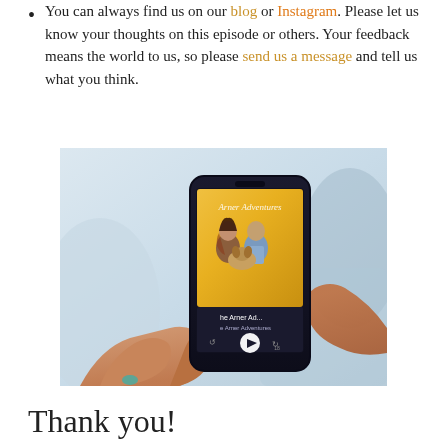You can always find us on our blog or Instagram. Please let us know your thoughts on this episode or others. Your feedback means the world to us, so please send us a message and tell us what you think.
[Figure (photo): A person holding a smartphone displaying a podcast app with a show called 'The Arner Adventures', showing two people and a dog on the podcast cover art.]
Thank you!